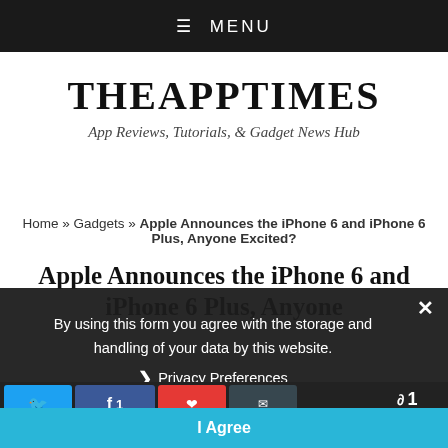≡ MENU
THEAPPTIMES
App Reviews, Tutorials, & Gadget News Hub
Home » Gadgets » Apple Announces the iPhone 6 and iPhone 6 Plus, Anyone Excited?
Apple Announces the iPhone 6 and iPhone 6 Plus, Anyone
By using this form you agree with the storage and handling of your data by this website.
› Privacy Preferences
I Agree